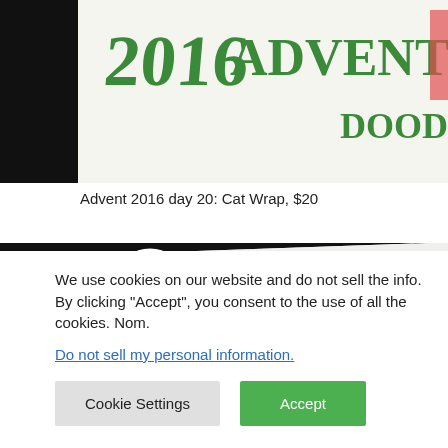[Figure (photo): Top portion of a white card with hand-lettered green text reading '2016 Advent: Day Doodles' on a dark/black background]
Advent 2016 day 20: Cat Wrap, $20
[Figure (photo): A hand-drawn doodle on white paper showing a snowman face with stick arms/branches, on a black and white patterned background, with a brown paper bag visible to the right showing the number 2]
We use cookies on our website and do not sell the info. By clicking “Accept”, you consent to the use of all the cookies. Nom.
Do not sell my personal information.